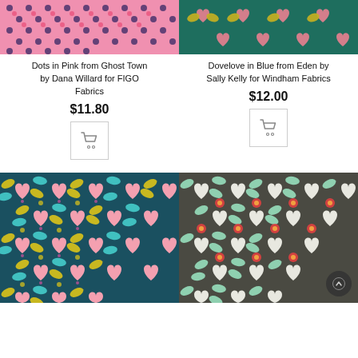[Figure (photo): Dots in Pink fabric pattern - pink background with dark navy and pink polka dots]
Dots in Pink from Ghost Town by Dana Willard for FIGO Fabrics
$11.80
[Figure (photo): Shopping cart button icon]
[Figure (photo): Dovelove in Blue fabric pattern - teal background with yellow and pink bird/heart motifs]
Dovelove in Blue from Eden by Sally Kelly for Windham Fabrics
$12.00
[Figure (photo): Shopping cart button icon]
[Figure (photo): Dovelove in Teal fabric pattern - dark teal background with cyan and pink bird/heart motifs, large product image]
[Figure (photo): Dovelove in Dark/Grey fabric pattern - dark grey background with mint green and red bird/heart motifs, large product image]